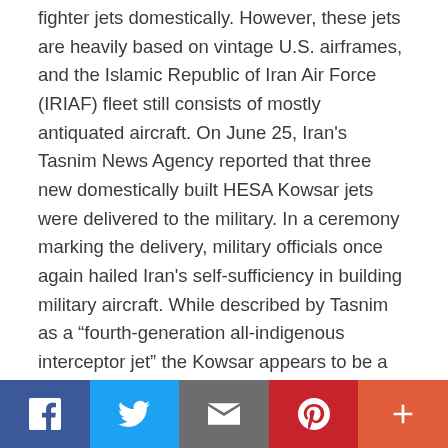fighter jets domestically. However, these jets are heavily based on vintage U.S. airframes, and the Islamic Republic of Iran Air Force (IRIAF) fleet still consists of mostly antiquated aircraft. On June 25, Iran's Tasnim News Agency reported that three new domestically built HESA Kowsar jets were delivered to the military. In a ceremony marking the delivery, military officials once again hailed Iran's self-sufficiency in building military aircraft. While described by Tasnim as a “fourth-generation all-indigenous interceptor jet” the Kowsar appears to be a refurbished third-generation American-built F-5 fighter jet. Iran still possesses several of these jets that were purchased during the reign of the
[Figure (other): Social media sharing bar with buttons for Facebook (blue), Twitter (light blue), Email (grey), Pinterest (red), and More (orange-red)]